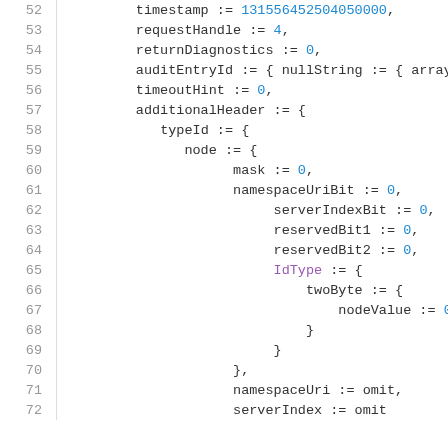Code listing lines 52-72 showing OPC-UA protocol data structure with timestamp, requestHandle, returnDiagnostics, auditEntryId, timeoutHint, additionalHeader fields and nested typeId/node structure with mask, namespaceUriBit, serverIndexBit, reservedBit1, reservedBit2, IdType, twoByte, nodeValue, namespaceUri, serverIndex fields